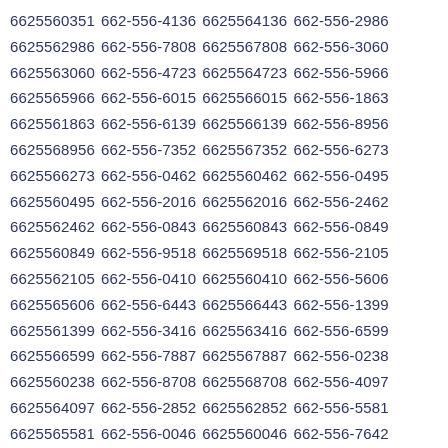6625560351 662-556-4136 6625564136 662-556-2986 6625562986 662-556-7808 6625567808 662-556-3060 6625563060 662-556-4723 6625564723 662-556-5966 6625565966 662-556-6015 6625566015 662-556-1863 6625561863 662-556-6139 6625566139 662-556-8956 6625568956 662-556-7352 6625567352 662-556-6273 6625566273 662-556-0462 6625560462 662-556-0495 6625560495 662-556-2016 6625562016 662-556-2462 6625562462 662-556-0843 6625560843 662-556-0849 6625560849 662-556-9518 6625569518 662-556-2105 6625562105 662-556-0410 6625560410 662-556-5606 6625565606 662-556-6443 6625566443 662-556-1399 6625561399 662-556-3416 6625563416 662-556-6599 6625566599 662-556-7887 6625567887 662-556-0238 6625560238 662-556-8708 6625568708 662-556-4097 6625564097 662-556-2852 6625562852 662-556-5581 6625565581 662-556-0046 6625560046 662-556-7642 6625567642 662-556-6893 6625566893 662-556-6922 6625566922 662-556-0529 6625560529 662-556-8438 6625568438 662-556-2866 6625562866 662-556-6754 6625566754 662-556-7901 6625567901 662-556-6244 6625566244 662-556-4123 6625564123 662-556-8166 6625568166 662-556-9407 6625569407 662-556-5566 6625565566 662-556-6364 6625566364 662-556-3404 6625563404 662-556-9059 6625569059 662-556-2714